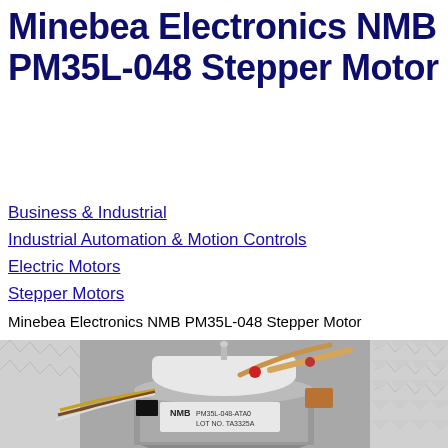Minebea Electronics NMB PM35L-048 Stepper Motor
Business & Industrial
Industrial Automation & Motion Controls
Electric Motors
Stepper Motors
Minebea Electronics NMB PM35L-048 Stepper Motor
[Figure (photo): Close-up photograph of a Minebea Electronics NMB PM35L-048 Stepper Motor. The motor has a silver cylindrical base with NMB branding and label reading PM35L-048-ATA0, LOT NO. TA3325A. On top is a white plastic pump assembly with orange/red tubing connections. Yellow and brown wires exit on the left side. A black rectangular component and copper-colored element are visible on the right. Background shows white foam packing material.]